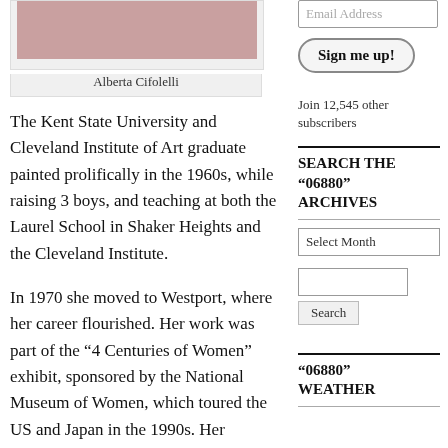[Figure (photo): Photo of Alberta Cifolelli]
Alberta Cifolelli
The Kent State University and Cleveland Institute of Art graduate painted prolifically in the 1960s, while raising 3 boys, and teaching at both the Laurel School in Shaker Heights and the Cleveland Institute.
In 1970 she moved to Westport, where her career flourished. Her work was part of the “4 Centuries of Women” exhibit, sponsored by the National Museum of Women, which toured the US and Japan in the 1990s. Her painting “Cleavage” is part of the museum’s permanent collection.
“My work is intensely personal, and alludes to ... in 2015. “Clea...
Email Address
Sign me up!
Join 12,545 other subscribers
SEARCH THE “06880” ARCHIVES
Select Month
Search
“06880” WEATHER